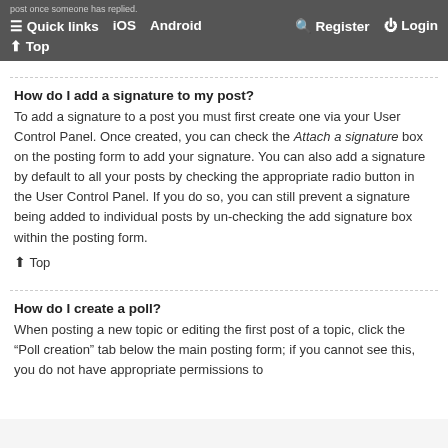post once someone has replied. Quick links iOS Android Register Login Top
How do I add a signature to my post?
To add a signature to a post you must first create one via your User Control Panel. Once created, you can check the Attach a signature box on the posting form to add your signature. You can also add a signature by default to all your posts by checking the appropriate radio button in the User Control Panel. If you do so, you can still prevent a signature being added to individual posts by un-checking the add signature box within the posting form.
Top
How do I create a poll?
When posting a new topic or editing the first post of a topic, click the “Poll creation” tab below the main posting form; if you cannot see this, you do not have appropriate permissions to